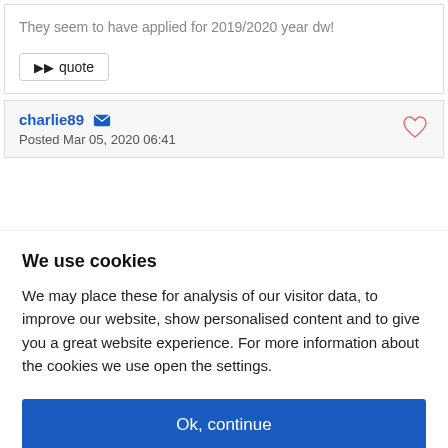They seem to have applied for 2019/2020 year dw!
▶▶ quote
charlie89
Posted Mar 05, 2020 06:41
We use cookies
We may place these for analysis of our visitor data, to improve our website, show personalised content and to give you a great website experience. For more information about the cookies we use open the settings.
Ok, continue
Deny
No, adjust